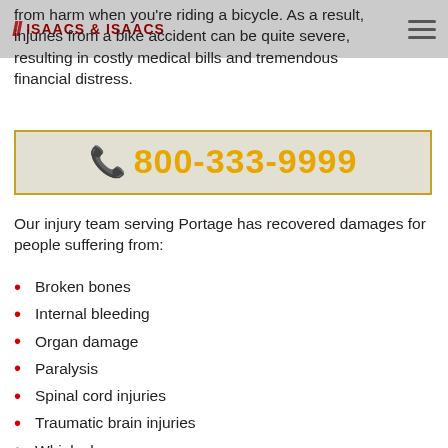Isaacs & Isaacs
from harm when you're riding a bicycle. As a result, injuries from a bike accident can be quite severe, resulting in costly medical bills and tremendous financial distress.
📞 800-333-9999
Our injury team serving Portage has recovered damages for people suffering from:
Broken bones
Internal bleeding
Organ damage
Paralysis
Spinal cord injuries
Traumatic brain injuries
Whiplash